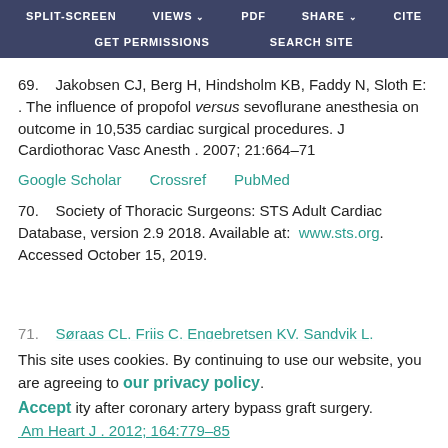SPLIT-SCREEN   VIEWS   PDF   SHARE   CITE   GET PERMISSIONS   SEARCH SITE
69.   Jakobsen CJ, Berg H, Hindsholm KB, Faddy N, Sloth E: . The influence of propofol versus sevoflurane anesthesia on outcome in 10,535 cardiac surgical procedures. J Cardiothorac Vasc Anesth . 2007; 21:664–71
Google Scholar   Crossref   PubMed
70.   Society of Thoracic Surgeons: STS Adult Cardiac Database, version 2.9 2018. Available at:  www.sts.org. Accessed October 15, 2019.
71.   Søraas CL, Friis C, Engebretsen KV, Sandvik L,
This site uses cookies. By continuing to use our website, you are agreeing to our privacy policy.
Accept
ity after coronary artery bypass graft surgery. Am Heart J . 2012; 164:779–85